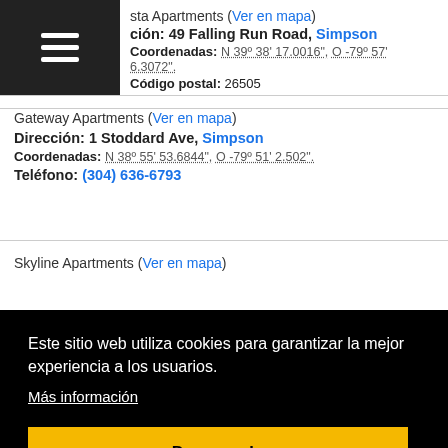sta Apartments (Ver en mapa)
ción: 49 Falling Run Road, Simpson
Coordenadas: N 39º 38' 17.0016", O -79º 57' 6.3072".
Código postal: 26505
Gateway Apartments (Ver en mapa)
Dirección: 1 Stoddard Ave, Simpson
Coordenadas: N 38º 55' 53.6844", O -79º 51' 2.502".
Teléfono: (304) 636-6793
Skyline Apartments (Ver en mapa)
Este sitio web utiliza cookies para garantizar la mejor experiencia a los usuarios.
Más información
De acuerdo
Copperfield Apartments (Ver en mapa)